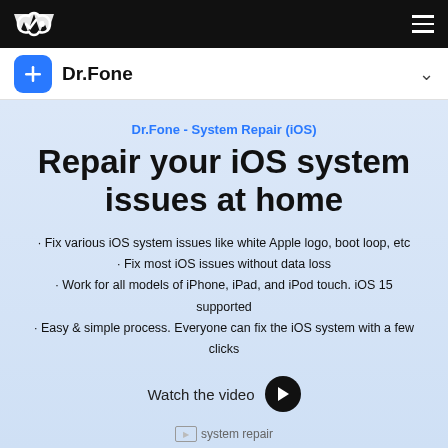Navigation bar with logo and hamburger menu
Dr.Fone
Dr.Fone - System Repair (iOS)
Repair your iOS system issues at home
· Fix various iOS system issues like white Apple logo, boot loop, etc
· Fix most iOS issues without data loss
· Work for all models of iPhone, iPad, and iPod touch. iOS 15 supported
· Easy & simple process. Everyone can fix the iOS system with a few clicks
Watch the video
[Figure (photo): system repair image placeholder]